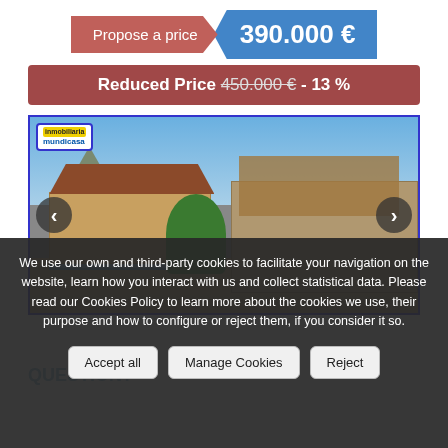Propose a price  390.000 €
Reduced Price 450.000 € - 13 %
[Figure (photo): Exterior photo of a Spanish villa property with pool area, mountain in background, outdoor dining furniture, and pergola structure. Shows two buildings - a single-story yellow house on left and multi-story structure on right.]
We use our own and third-party cookies to facilitate your navigation on the website, learn how you interact with us and collect statistical data. Please read our Cookies Policy to learn more about the cookies we use, their purpose and how to configure or reject them, if you consider it so.
Accept all
Manage Cookies
Reject
QUESTION?